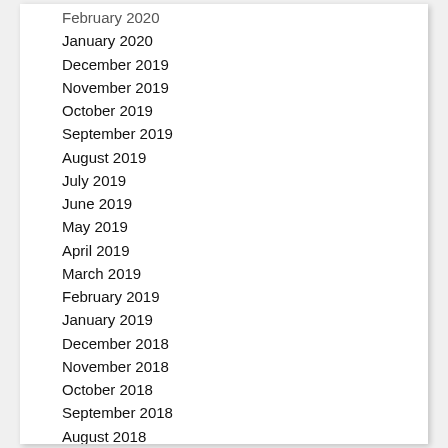February 2020
January 2020
December 2019
November 2019
October 2019
September 2019
August 2019
July 2019
June 2019
May 2019
April 2019
March 2019
February 2019
January 2019
December 2018
November 2018
October 2018
September 2018
August 2018
July 2018
June 2018